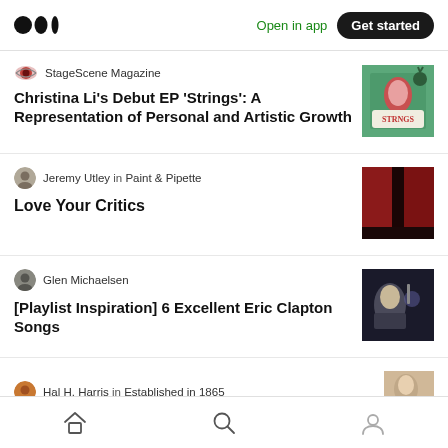Open in app | Get started
StageScene Magazine
Christina Li’s Debut EP ‘Strings’: A Representation of Personal and Artistic Growth
[Figure (photo): Album cover for Strings EP]
Jeremy Utley in Paint & Pipette
Love Your Critics
[Figure (photo): Dark red theater curtain image]
Glen Michaelsen
[Playlist Inspiration] 6 Excellent Eric Clapton Songs
[Figure (photo): Eric Clapton playing guitar on stage]
Hal H. Harris in Established in 1865
[Figure (photo): Partially visible photo thumbnail]
Home | Search | Profile